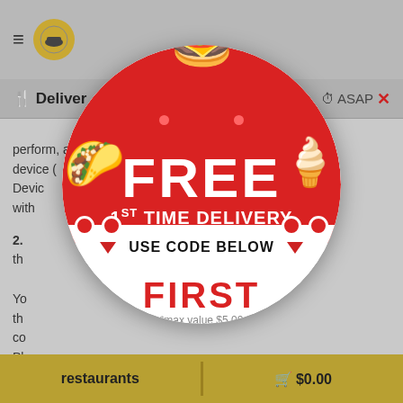[Figure (screenshot): Mobile food delivery app background UI showing navigation bar with hamburger menu icon, logo, 'Deliver' tab, 'ASAP' with X button, body text from terms and conditions (partially obscured), and bottom bar with 'restaurants' and '$0.00' cart buttons in olive/gold color.]
[Figure (infographic): Circular promotional coupon overlay with red top dome displaying 'FREE' in large white bold text and '1ST TIME DELIVERY' below it, a white middle band with two red downward triangles and 'USE CODE BELOW' text, a white bottom section with 'FIRST' in red bold text, '*max value $5.00' in gray, and a small circular logo at the bottom. Cartoon taco emoji on the left side of the red area, ice cream cone on the right. Cartoon burger emoji sitting on top of the circle.]